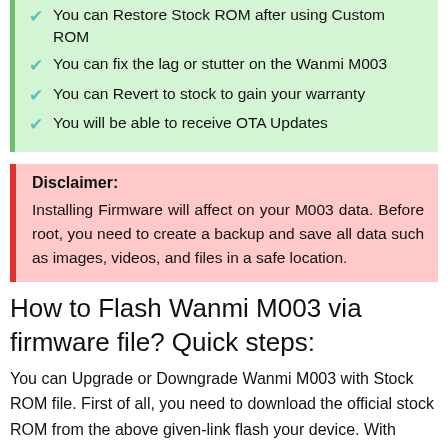You can Restore Stock ROM after using Custom ROM
You can fix the lag or stutter on the Wanmi M003
You can Revert to stock to gain your warranty
You will be able to receive OTA Updates
Disclaimer: Installing Firmware will affect on your M003 data. Before root, you need to create a backup and save all data such as images, videos, and files in a safe location.
How to Flash Wanmi M003 via firmware file? Quick steps:
You can Upgrade or Downgrade Wanmi M003 with Stock ROM file. First of all, you need to download the official stock ROM from the above given-link flash your device. With Flash